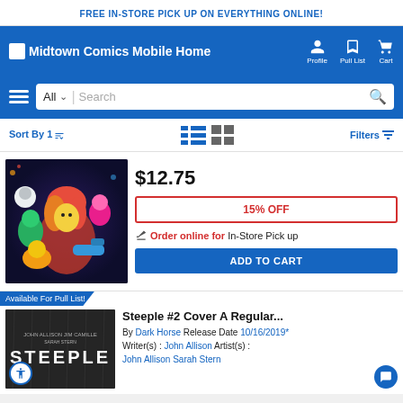FREE IN-STORE PICK UP ON EVERYTHING ONLINE!
[Figure (screenshot): Midtown Comics mobile website navigation header with logo, Profile, Pull List, and Cart icons on blue background]
[Figure (screenshot): Search bar with hamburger menu, All category dropdown, Search placeholder, and search icon]
Sort By 1↑    Filters
[Figure (photo): Comic book cover art showing animated characters including a girl with orange hair]
$12.75
15% OFF
Order online for In-Store Pick up
ADD TO CART
Available For Pull List!
Steeple #2 Cover A Regular...
By Dark Horse Release Date 10/16/2019* Writer(s) : John Allison Artist(s) : John Allison Sarah Stern